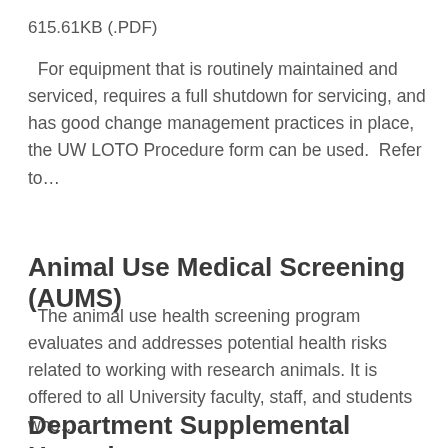615.61KB (.PDF)
For equipment that is routinely maintained and serviced, requires a full shutdown for servicing, and has good change management practices in place, the UW LOTO Procedure form can be used.  Refer to…
Animal Use Medical Screening (AUMS)
The animal use health screening program evaluates and addresses potential health risks related to working with research animals. It is offered to all University faculty, staff, and students who…
Department Supplemental Hazardous